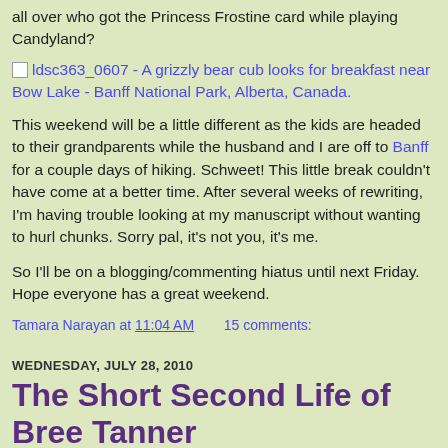all over who got the Princess Frostine card while playing Candyland?
[Figure (photo): Broken/placeholder image icon followed by caption link: ldsc363_0607 - A grizzly bear cub looks for breakfast near Bow Lake - Banff National Park, Alberta, Canada.]
This weekend will be a little different as the kids are headed to their grandparents while the husband and I are off to Banff for a couple days of hiking. Schweet! This little break couldn't have come at a better time. After several weeks of rewriting, I'm having trouble looking at my manuscript without wanting to hurl chunks. Sorry pal, it's not you, it's me.
So I'll be on a blogging/commenting hiatus until next Friday. Hope everyone has a great weekend.
Tamara Narayan at 11:04 AM    15 comments:
WEDNESDAY, JULY 28, 2010
The Short Second Life of Bree Tanner